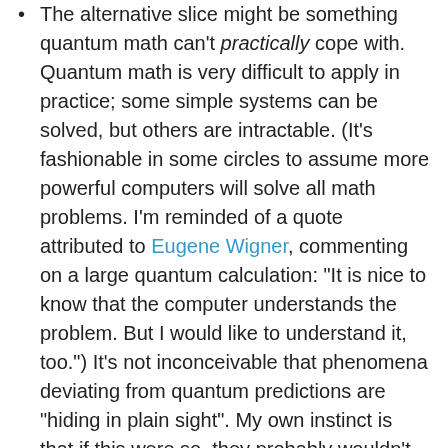The alternative slice might be something quantum math can't practically cope with. Quantum math is very difficult to apply in practice; some simple systems can be solved, but others are intractable.  (It's fashionable in some circles to assume more powerful computers will solve all math problems.  I'm reminded of a quote attributed to Eugene Wigner, commenting on a large quantum calculation:  "It is nice to know that the computer understands the problem.  But I would like to understand it, too.")  It's not inconceivable that phenomena deviating from quantum predictions are "hiding in plain sight".  My own instinct is that if this were so, they probably wouldn't be just on the edge of what we can cope with mathematically, but well outside that perimeter.
This raises the possibility that quantum mechanics might be an idealized approximation, holding asymptotically in a degenerate case — in